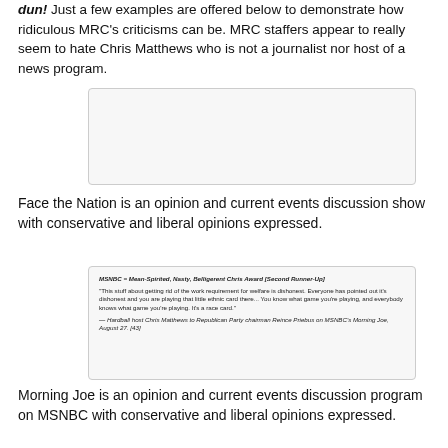dun!  Just a few examples are offered below to demonstrate how ridiculous MRC's criticisms can be. MRC staffers appear to really seem to hate Chris Matthews who is not a journalist nor host of a news program.
[Figure (screenshot): Screenshot of a webpage/document (blank/white content area)]
Face the Nation is an opinion and current events discussion show with conservative and liberal opinions expressed.
[Figure (screenshot): Screenshot showing: MSNBC = Mean-Spirited, Nasty, Belligerent Chris Award [Second Runner-Up] with a quote from Hardball host Chris Matthews to Republican Party chairman Reince Priebus on MSNBC's Morning Joe, August 27. [43]]
Morning Joe is an opinion and current events discussion program on MSNBC with conservative and liberal opinions expressed.
[Figure (screenshot): Partial screenshot at bottom of page (cut off)]